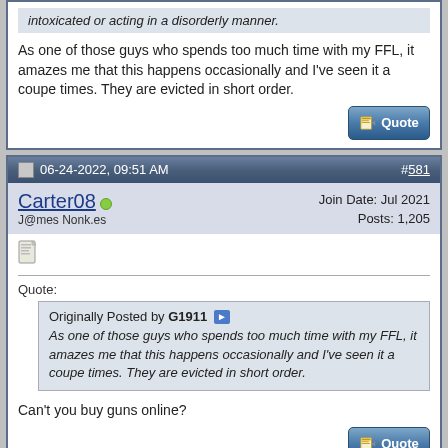intoxicated or acting in a disorderly manner.
As one of those guys who spends too much time with my FFL, it amazes me that this happens occasionally and I've seen it a coupe times. They are evicted in short order.
06-24-2022, 09:51 AM
#581
Carter08
J@mes Nonk.es
Join Date: Jul 2021
Posts: 1,205
Quote:
Originally Posted by G1911
As one of those guys who spends too much time with my FFL, it amazes me that this happens occasionally and I've seen it a coupe times. They are evicted in short order.
Can't you buy guns online?
06-24-2022, 09:56 AM
#582